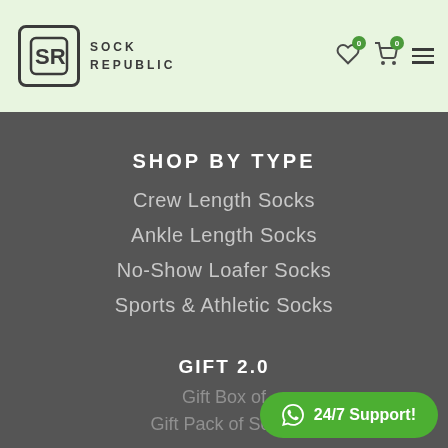[Figure (logo): Sock Republic logo with stylized SR in a rounded square, beside text SOCK REPUBLIC]
SHOP BY TYPE
Crew Length Socks
Ankle Length Socks
No-Show Loafer Socks
Sports & Athletic Socks
GIFT 2.0
Gift Box of
Gift Pack of Socks
[Figure (infographic): Green WhatsApp support button with text 24/7 Support!]